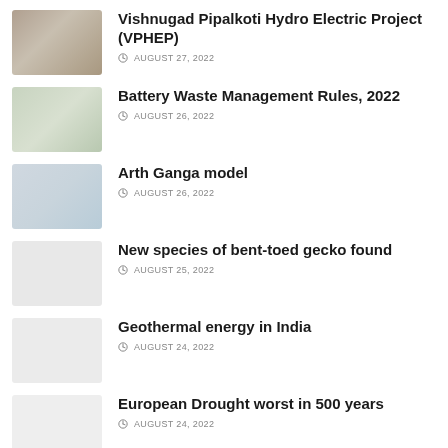Vishnugad Pipalkoti Hydro Electric Project (VPHEP)
AUGUST 27, 2022
Battery Waste Management Rules, 2022
AUGUST 26, 2022
Arth Ganga model
AUGUST 26, 2022
New species of bent-toed gecko found
AUGUST 25, 2022
Geothermal energy in India
AUGUST 24, 2022
European Drought worst in 500 years
AUGUST 24, 2022